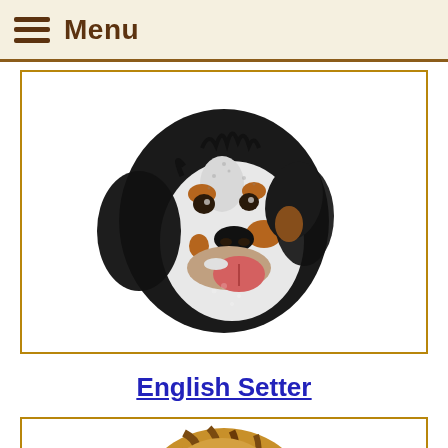Menu
[Figure (illustration): Embroidered illustration of a dog head (Bernese Mountain Dog or similar breed) facing right with black, white, and brown coloring, mouth open showing tongue, detailed textured needlework style]
English Setter
[Figure (illustration): Partial embroidered illustration of a dog head (English Setter or similar breed) with golden-brown coloring, visible at the bottom of the page, detailed textured needlework style]